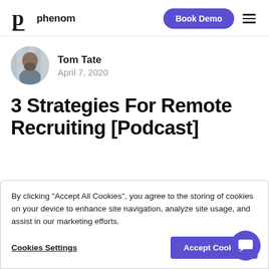[Figure (logo): Phenom logo with stylized 'p' and wordmark]
Book Demo
Tom Tate
April 7, 2020
3 Strategies For Remote Recruiting [Podcast]
By clicking "Accept All Cookies", you agree to the storing of cookies on your device to enhance site navigation, analyze site usage, and assist in our marketing efforts.
Cookies Settings
Accept Cookies